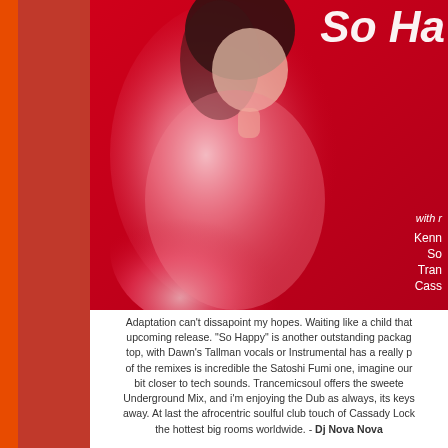[Figure (photo): Album cover / promotional image for 'So Happy' release. Red background with a woman in a red dress smiling. White italic title 'So Ha...' visible top right. Text listing remixers: Kenn..., So..., Tran..., Casse... with 'with r...' label.]
Adaptation can't dissapoint my hopes. Waiting like a child that... upcoming release. "So Happy" is another outstanding packag... top, with Dawn's Tallman vocals or Instrumental has a really pe... of the remixes is incredible the Satoshi Fumi one, imagine our ... bit closer to tech sounds. Trancemicsoul offers the sweete... Underground Mix, and i'm enjoying the Dub as always, its keys... away. At last the afrocentric soulful club touch of Cassady Lock... the hottest big rooms worldwide. - Dj Nova Nova
RELEASE DATE: TBA